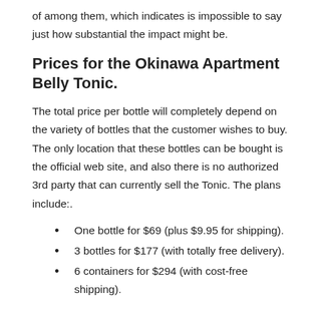of among them, which indicates is impossible to say just how substantial the impact might be.
Prices for the Okinawa Apartment Belly Tonic.
The total price per bottle will completely depend on the variety of bottles that the customer wishes to buy. The only location that these bottles can be bought is the official web site, and also there is no authorized 3rd party that can currently sell the Tonic. The plans include:.
One bottle for $69 (plus $9.95 for shipping).
3 bottles for $177 (with totally free delivery).
6 containers for $294 (with cost-free shipping).
Each bottle has sufficient powder to last with thirty days of